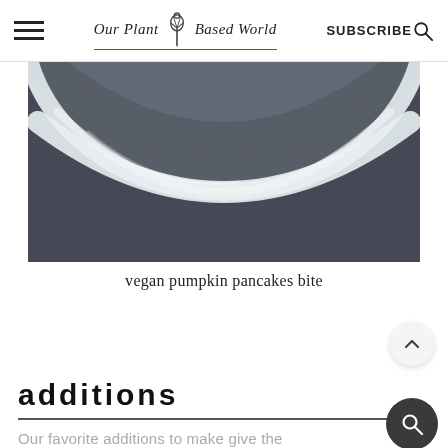Our Plant Based World  SUBSCRIBE
[Figure (photo): Close-up photo of a white ceramic bowl or plate bottom, shot from below on a dark textured fabric background]
vegan pumpkin pancakes bite
additions
Our favorite additions to make give the